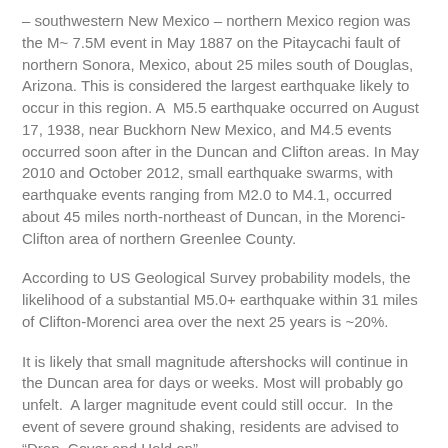– southwestern New Mexico – northern Mexico region was the M~ 7.5M event in May 1887 on the Pitaycachi fault of northern Sonora, Mexico, about 25 miles south of Douglas, Arizona. This is considered the largest earthquake likely to occur in this region. A M5.5 earthquake occurred on August 17, 1938, near Buckhorn New Mexico, and M4.5 events occurred soon after in the Duncan and Clifton areas. In May 2010 and October 2012, small earthquake swarms, with earthquake events ranging from M2.0 to M4.1, occurred about 45 miles north-northeast of Duncan, in the Morenci-Clifton area of northern Greenlee County.
According to US Geological Survey probability models, the likelihood of a substantial M5.0+ earthquake within 31 miles of Clifton-Morenci area over the next 25 years is ~20%.
It is likely that small magnitude aftershocks will continue in the Duncan area for days or weeks. Most will probably go unfelt. A larger magnitude event could still occur. In the event of severe ground shaking, residents are advised to "Drop, Cover and Hold on".